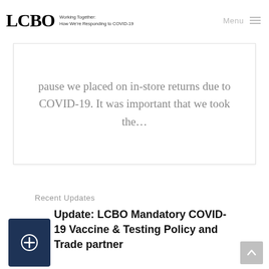LCBO — Working Together: How We're Responding to COVID-19 — Menu
pause we placed on in-store returns due to COVID-19. It was important that we took the…
Recent Updates
Update: LCBO Mandatory COVID-19 Vaccine & Testing Policy and Trade partner
[Figure (other): Dark navy blue thumbnail card with a white plus/circle icon]